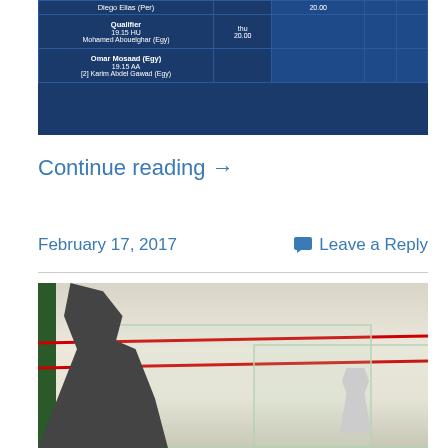[Figure (table-as-image): Tournament schedule table with dark blue background showing squash match fixtures including players: Diego Elias (Per), Qualifier, Mohamed Abouelghar (Egy), Omar Mosaad (Egy), and [2] Karim Abdel Gawad (Egy), with times 19.15 HU, 19.15 AA, thu 20.00]
Continue reading →
February 17, 2017
Leave a Reply
[Figure (photo): Photo of a squash court interior with a person in dark clothing on the left side, glass back wall panels visible, red service lines on the white walls, and another player visible in the background]